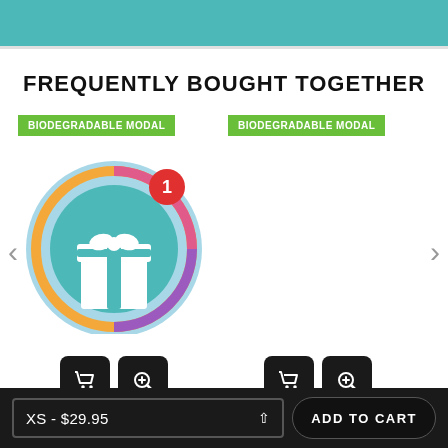FREQUENTLY BOUGHT TOGETHER
[Figure (screenshot): E-commerce product page section showing two product slots with green 'BIODEGRADABLE MODAL' badges, a gift box product image with a notification badge showing '1', shopping cart and zoom icon buttons, navigation arrows, and a bottom bar with size selector 'XS - $29.95' and 'ADD TO CART' button.]
BIODEGRADABLE MODAL
BIODEGRADABLE MODAL
XS - $29.95
ADD TO CART